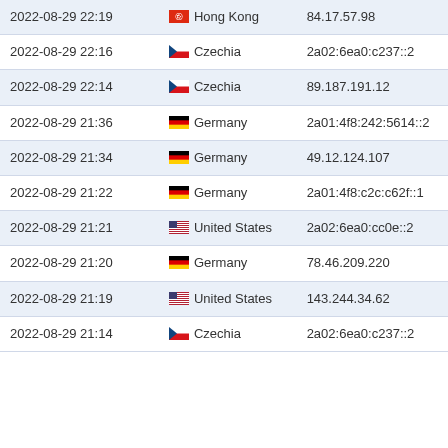| Date | Country | IP |
| --- | --- | --- |
| 2022-08-29 22:19 | Hong Kong | 84.17.57.98 |
| 2022-08-29 22:16 | Czechia | 2a02:6ea0:c237::2 |
| 2022-08-29 22:14 | Czechia | 89.187.191.12 |
| 2022-08-29 21:36 | Germany | 2a01:4f8:242:5614::2 |
| 2022-08-29 21:34 | Germany | 49.12.124.107 |
| 2022-08-29 21:22 | Germany | 2a01:4f8:c2c:c62f::1 |
| 2022-08-29 21:21 | United States | 2a02:6ea0:cc0e::2 |
| 2022-08-29 21:20 | Germany | 78.46.209.220 |
| 2022-08-29 21:19 | United States | 143.244.34.62 |
| 2022-08-29 21:14 | Czechia | 2a02:6ea0:c237::2 |